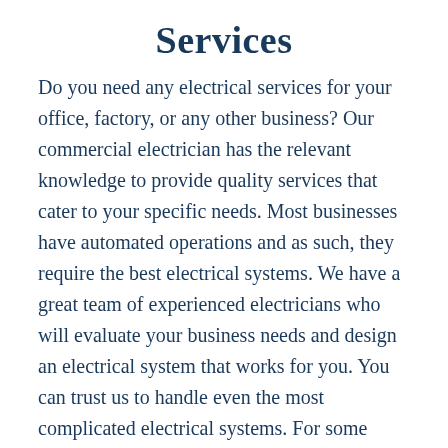Services
Do you need any electrical services for your office, factory, or any other business? Our commercial electrician has the relevant knowledge to provide quality services that cater to your specific needs. Most businesses have automated operations and as such, they require the best electrical systems. We have a great team of experienced electricians who will evaluate your business needs and design an electrical system that works for you. You can trust us to handle even the most complicated electrical systems. For some businesses, they cannot afford to lose power at any time and as such, they need to have a standby electrician. We are your 24-